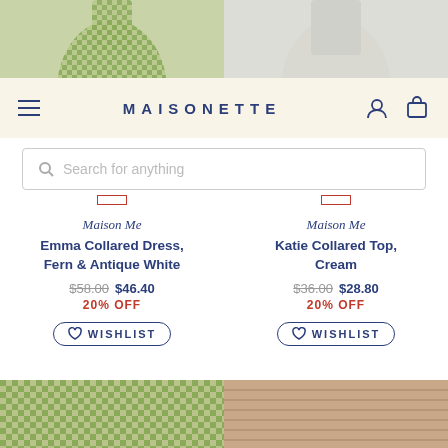[Figure (photo): Top portion of a green gingham collared dress product photo (cropped at top)]
[Figure (photo): Top portion of a light gray/cream collared top product photo (cropped at top)]
MAISONETTE
Search for anything
Maison Me
Emma Collared Dress, Fern & Antique White
$58.00 $46.40 20% OFF
WISHLIST
Maison Me
Katie Collared Top, Cream
$36.00 $28.80 20% OFF
WISHLIST
[Figure (photo): Bottom portion of a green gingham skirt/bottom product photo (cropped)]
[Figure (photo): Bottom portion of a tan/brown striped polo top product photo (cropped)]